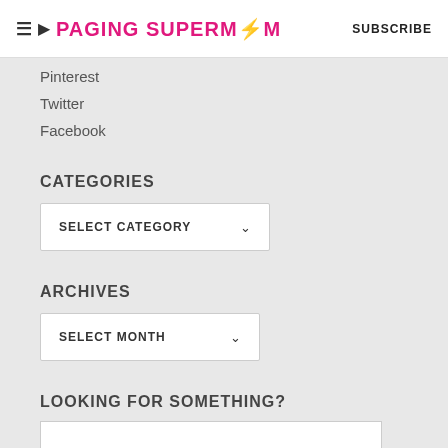PAGING SUPERMOM | SUBSCRIBE
Pinterest
Twitter
Facebook
CATEGORIES
SELECT CATEGORY
ARCHIVES
SELECT MONTH
LOOKING FOR SOMETHING?